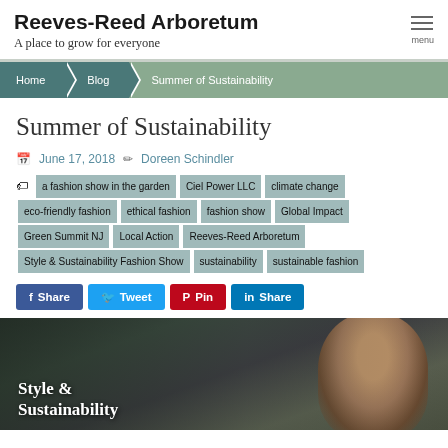Reeves-Reed Arboretum — A place to grow for everyone
Summer of Sustainability
June 17, 2018   Doreen Schindler
a fashion show in the garden | Ciel Power LLC | climate change | eco-friendly fashion | ethical fashion | fashion show | Global Impact | Green Summit NJ | Local Action | Reeves-Reed Arboretum | Style & Sustainability Fashion Show | sustainability | sustainable fashion
Share  Tweet  Pin  Share
[Figure (photo): A woman looking upward, partially obscured, with text overlay reading 'Style & Sustainability'. Dark/moody toned photograph.]